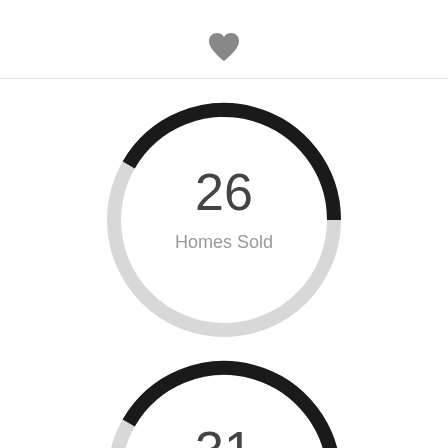[Figure (donut-chart): Homes Sold]
[Figure (donut-chart): ]